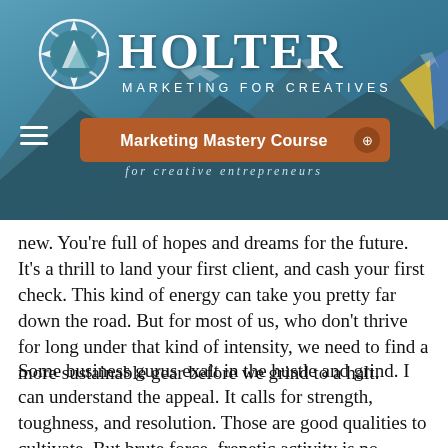[Figure (logo): Holter Marketing for Creatives logo with compass/mountain icon on teal mountain background header]
Marketing Mastery Course — for creative entrepreneurs
new. You're full of hopes and dreams for the future. It's a thrill to land your first client, and cash your first check. This kind of energy can take you pretty far down the road. But for most of us, who don't thrive for long under that kind of intensity, we need to find a more sustainable gear before we grind to a halt.
Some business gurus exalt in the hustle and grind. I can understand the appeal. It calls for strength, toughness, and resolution. Those are good qualities to cultivate. But brute force, frenetic activity is no